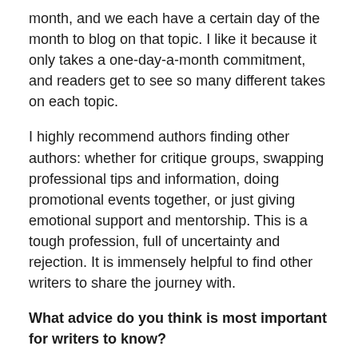month, and we each have a certain day of the month to blog on that topic. I like it because it only takes a one-day-a-month commitment, and readers get to see so many different takes on each topic.
I highly recommend authors finding other authors: whether for critique groups, swapping professional tips and information, doing promotional events together, or just giving emotional support and mentorship. This is a tough profession, full of uncertainty and rejection. It is immensely helpful to find other writers to share the journey with.
What advice do you think is most important for writers to know?
Jennifer R. Hubbard: Read a lot. Write a lot.
Last question…What is next on the horizon for you?